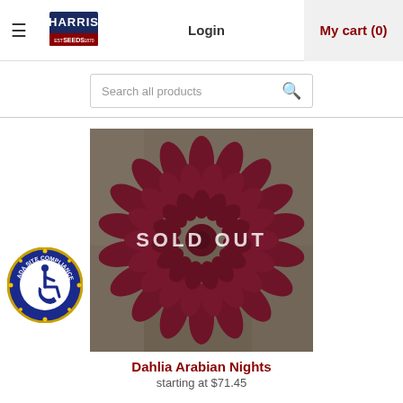Harris Seeds — Login | My cart (0)
Search all products
[Figure (photo): A dark reddish-purple Dahlia Arabian Nights flower photographed close-up, with a semi-transparent dark red 'SOLD OUT' overlay in the center.]
Dahlia Arabian Nights
starting at $71.45
[Figure (logo): ADA Site Compliance circular badge — blue circle with yellow star border, wheelchair accessibility icon in center, text 'ADA SITE COMPLIANCE' around the edge.]